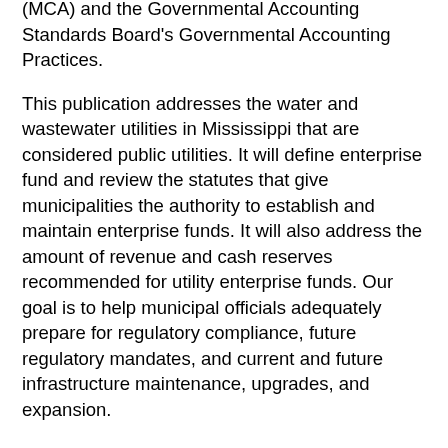(MCA) and the Governmental Accounting Standards Board's Governmental Accounting Practices.
This publication addresses the water and wastewater utilities in Mississippi that are considered public utilities. It will define enterprise fund and review the statutes that give municipalities the authority to establish and maintain enterprise funds. It will also address the amount of revenue and cash reserves recommended for utility enterprise funds. Our goal is to help municipal officials adequately prepare for regulatory compliance, future regulatory mandates, and current and future infrastructure maintenance, upgrades, and expansion.
Utilities Considered to be Public
MCA Section 21-27-23 provides the general authority of a municipality to create, maintain, and operate public utility systems. Public utility systems provide waterworks, water supply, sewerage, sewage disposal, garbage disposal, and light and power systems.